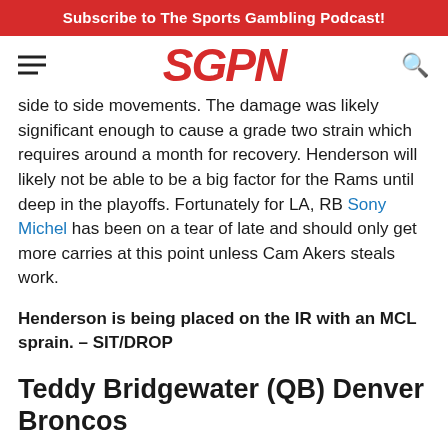Subscribe to The Sports Gambling Podcast!
[Figure (logo): SGPN logo in red italic bold text with hamburger menu icon on left and search icon on right]
side to side movements. The damage was likely significant enough to cause a grade two strain which requires around a month for recovery. Henderson will likely not be able to be a big factor for the Rams until deep in the playoffs. Fortunately for LA, RB Sony Michel has been on a tear of late and should only get more carries at this point unless Cam Akers steals work.
Henderson is being placed on the IR with an MCL sprain. – SIT/DROP
Teddy Bridgewater (QB) Denver Broncos